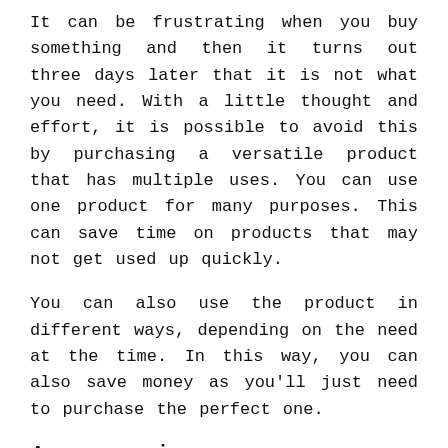It can be frustrating when you buy something and then it turns out three days later that it is not what you need. With a little thought and effort, it is possible to avoid this by purchasing a versatile product that has multiple uses. You can use one product for many purposes. This can save time on products that may not get used up quickly.
You can also use the product in different ways, depending on the need at the time. In this way, you can also save money as you'll just need to purchase the perfect one.
Accessories
When you are planning to buy a Grease For